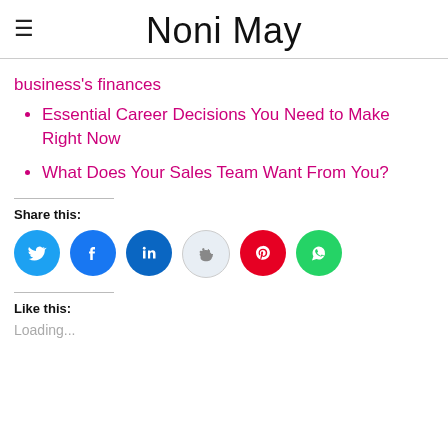Noni May
business's finances
Essential Career Decisions You Need to Make Right Now
What Does Your Sales Team Want From You?
Share this:
[Figure (infographic): Social sharing icons: Twitter (blue), Facebook (dark blue), LinkedIn (blue), Reddit (light grey), Pinterest (red), WhatsApp (green)]
Like this:
Loading...